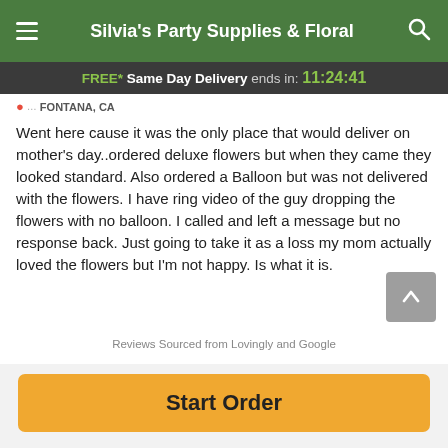Silvia's Party Supplies & Floral
FREE* Same Day Delivery ends in: 11:24:41
FONTANA, CA
Went here cause it was the only place that would deliver on mother's day..ordered deluxe flowers but when they came they looked standard. Also ordered a Balloon but was not delivered with the flowers. I have ring video of the guy dropping the flowers with no balloon. I called and left a message but no response back. Just going to take it as a loss my mom actually loved the flowers but I'm not happy. Is what it is.
Reviews Sourced from Lovingly and Google
Start Order